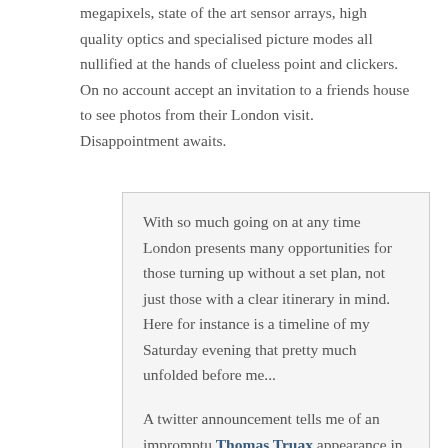megapixels, state of the art sensor arrays, high quality optics and specialised picture modes all nullified at the hands of clueless point and clickers. On no account accept an invitation to a friends house to see photos from their London visit. Disappointment awaits.
With so much going on at any time London presents many opportunities for those turning up without a set plan, not just those with a clear itinerary in mind. Here for instance is a timeline of my Saturday evening that pretty much unfolded before me...
A twitter announcement tells me of an impromptu Thomas Truax appearance in Dalston so I book a ticket for the event online.
Arrival at the venue: The very wonderful Old Boys Club in a Dalston side street.
Thomas plays a great set to a variously startled/dumbfounded audience of media student types that are here for the main event (see below).